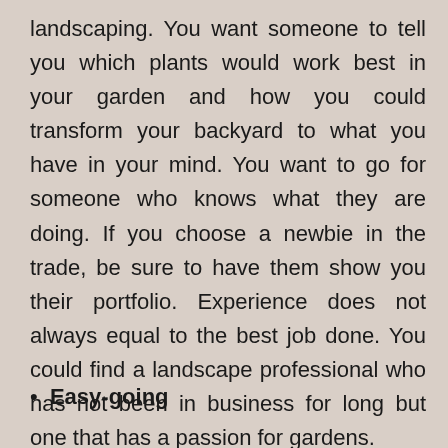landscaping. You want someone to tell you which plants would work best in your garden and how you could transform your backyard to what you have in your mind. You want to go for someone who knows what they are doing. If you choose a newbie in the trade, be sure to have them show you their portfolio. Experience does not always equal to the best job done. You could find a landscape professional who has not been in business for long but one that has a passion for gardens.
Easy-going